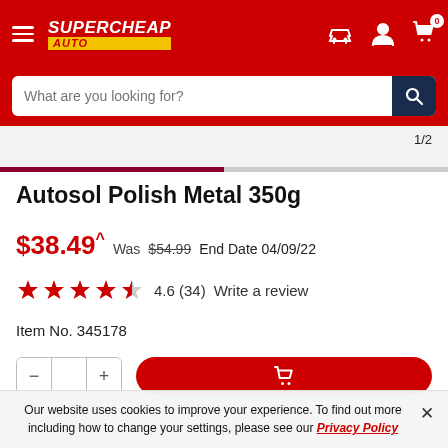[Figure (screenshot): Supercheap Auto website header with red background, hamburger menu, logo, and icons for garage, account, and cart (showing 0)]
[Figure (screenshot): Search bar with placeholder 'What are you looking for?' and dark blue search button]
[Figure (screenshot): Image carousel area showing page 1/2 indicator and a progress bar (first half filled in dark red, second half grey)]
Autosol Polish Metal 350g
$38.49^ Was $54.99  End Date 04/09/22
4.6 (34)  Write a review
Item No. 345178
Our website uses cookies to improve your experience. To find out more including how to change your settings, please see our Privacy Policy